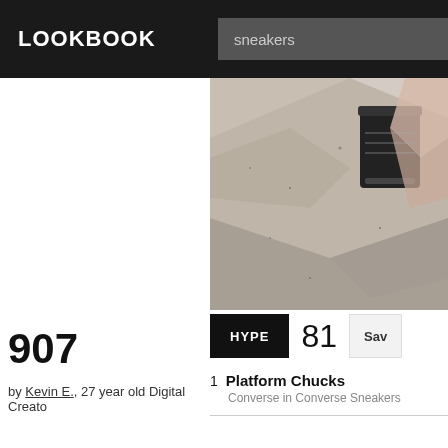LOOKBOOK
sneakers
[Figure (photo): Close-up photo of sneakers on concrete/stone surface, showing platform Converse shoes with a black accessory visible]
HYPE  81  Sav
1  Platform Chucks
Converse in Converse Sneakers
907
by Kevin E., 27 year old Digital Creator